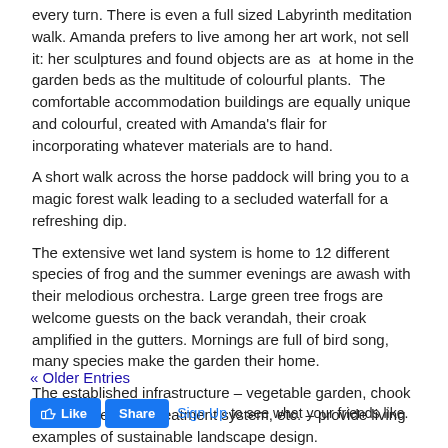every turn. There is even a full sized Labyrinth meditation walk. Amanda prefers to live among her art work, not sell it: her sculptures and found objects are as at home in the garden beds as the multitude of colourful plants. The comfortable accommodation buildings are equally unique and colourful, created with Amanda's flair for incorporating whatever materials are to hand.
A short walk across the horse paddock will bring you to a magic forest walk leading to a secluded waterfall for a refreshing dip.
The extensive wet land system is home to 12 different species of frog and the summer evenings are awash with their melodious orchestra. Large green tree frogs are welcome guests on the back verandah, their croak amplified in the gutters. Mornings are full of bird song, many species make the garden their home.
The established infrastructure – vegetable garden, chook yard, waste water treatment system, etc. – provide living examples of sustainable landscape design.
« Older Entries
Like  Share  Sign Up to see what your friends like.